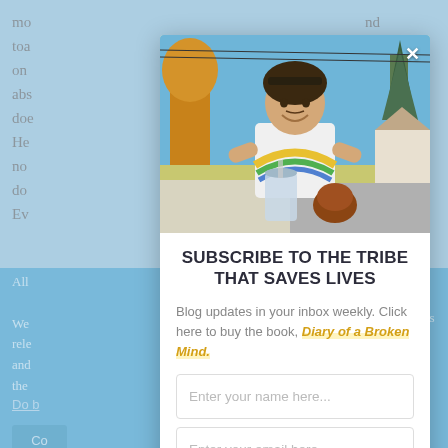[Figure (photo): Background webpage with light blue background, partially visible article text on left and right edges, and a blue section near bottom]
[Figure (photo): Photo of a young man smiling outdoors, wearing a white t-shirt with colorful design, holding a drink, on a suburban street with trees]
SUBSCRIBE TO THE TRIBE THAT SAVES LIVES
Blog updates in your inbox weekly. Click here to buy the book, Diary of a Broken Mind.
Enter your name here...
Enter your email here...